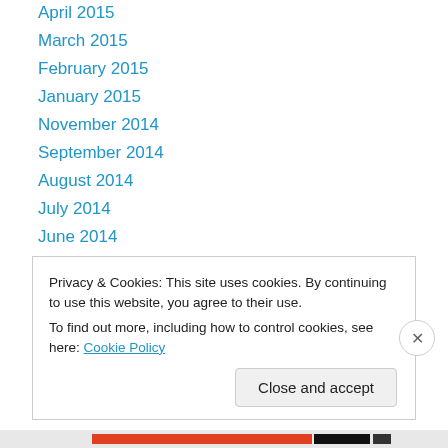April 2015
March 2015
February 2015
January 2015
November 2014
September 2014
August 2014
July 2014
June 2014
May 2014
April 2014
March 2014
February 2014
Privacy & Cookies: This site uses cookies. By continuing to use this website, you agree to their use.
To find out more, including how to control cookies, see here: Cookie Policy